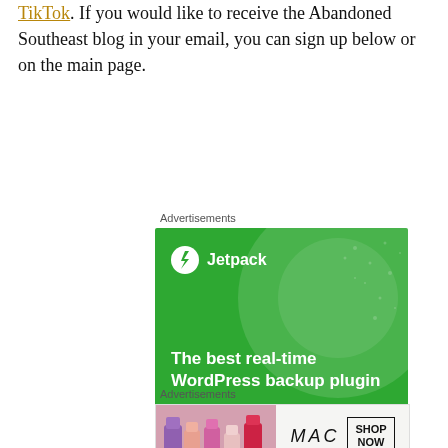TikTok. If you would like to receive the Abandoned Southeast blog in your email, you can sign up below or on the main page.
Advertisements
[Figure (illustration): Jetpack advertisement banner: green background with large translucent circle, Jetpack logo (lightning bolt icon) and name, tagline 'The best real-time WordPress backup plugin', and a white rounded button 'Back up your site']
Advertisements
[Figure (illustration): MAC cosmetics advertisement: colorful lipsticks on the left, MAC wordmark in the center, 'SHOP NOW' button on the right]